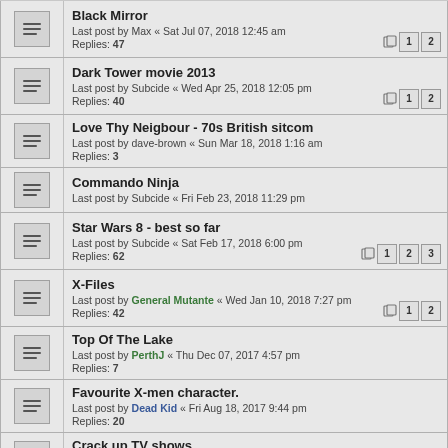Black Mirror
Last post by Max « Sat Jul 07, 2018 12:45 am
Replies: 47
Dark Tower movie 2013
Last post by Subcide « Wed Apr 25, 2018 12:05 pm
Replies: 40
Love Thy Neigbour - 70s British sitcom
Last post by dave-brown « Sun Mar 18, 2018 1:16 am
Replies: 3
Commando Ninja
Last post by Subcide « Fri Feb 23, 2018 11:29 pm
Star Wars 8 - best so far
Last post by Subcide « Sat Feb 17, 2018 6:00 pm
Replies: 62
X-Files
Last post by General Mutante « Wed Jan 10, 2018 7:27 pm
Replies: 42
Top Of The Lake
Last post by PerthJ « Thu Dec 07, 2017 4:57 pm
Replies: 7
Favourite X-men character.
Last post by Dead Kid « Fri Aug 18, 2017 9:44 pm
Replies: 20
Crack up TV shows
Last post by dave-brown « Sun Jun 25, 2017 10:46 pm
Replies: 5
caroline in the city (unwelcome 90's TV nostalgia thread)
Last post by Drax « Sun Apr 09, 2017 8:57 pm